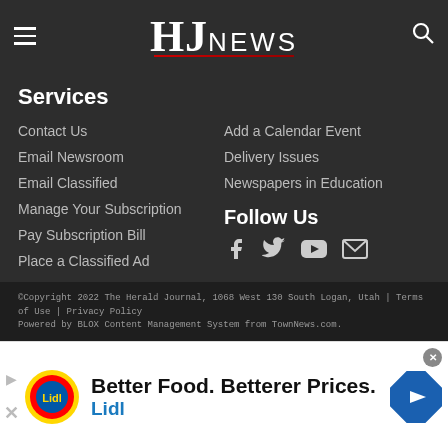HJNews
Services
Contact Us
Email Newsroom
Email Classified
Manage Your Subscription
Pay Subscription Bill
Place a Classified Ad
Add a Calendar Event
Delivery Issues
Newspapers in Education
Follow Us
[Figure (infographic): Social media icons: Facebook, Twitter, YouTube, Email]
©Copyright 2022 The Herald Journal, 1068 West 130 South Logan, Utah | Terms of Use | Privacy Policy
Powered by BLOX Content Management System from TownNews.com.
[Figure (infographic): Lidl advertisement: Better Food. Betterer Prices. Lidl]